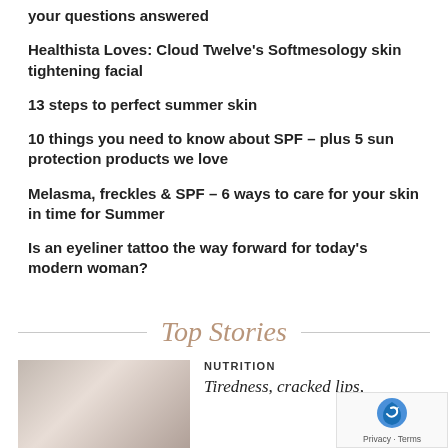your questions answered
Healthista Loves: Cloud Twelve's Softmesology skin tightening facial
13 steps to perfect summer skin
10 things you need to know about SPF – plus 5 sun protection products we love
Melasma, freckles & SPF – 6 ways to care for your skin in time for Summer
Is an eyeliner tattoo the way forward for today's modern woman?
Top Stories
NUTRITION
Tiredness, cracked lips,